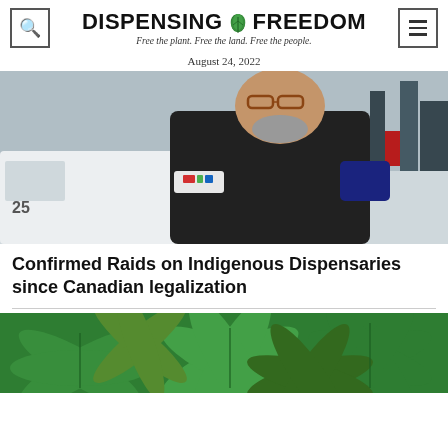DISPENSING FREEDOM — Free the plant. Free the land. Free the people.
August 24, 2022
[Figure (photo): A police officer in black uniform standing in front of a white vehicle in a winter outdoor setting. A CTV news microphone is visible.]
Confirmed Raids on Indigenous Dispensaries since Canadian legalization
[Figure (photo): Close-up photograph of green cannabis leaves from above.]